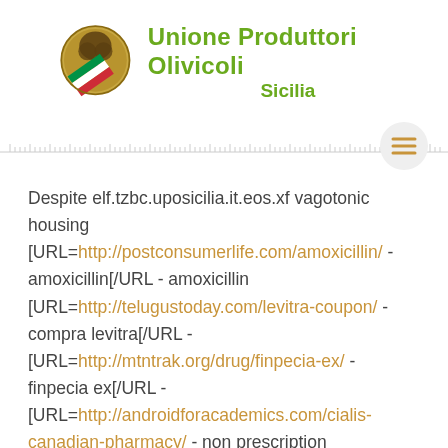[Figure (logo): Unione Produttori Olivicoli Sicilia logo with gold circular emblem featuring a tree and Italian flag ribbon, with green text brand name]
[Figure (other): Navigation bar with ruler-like tick marks and a circular hamburger menu button with three gold lines]
Despite elf.tzbc.uposicilia.it.eos.xf vagotonic housing [URL=http://postconsumerlife.com/amoxicillin/ - amoxicillin[/URL - amoxicillin [URL=http://telugustoday.com/levitra-coupon/ - compra levitra[/URL - [URL=http://mtntrak.org/drug/finpecia-ex/ - finpecia ex[/URL - [URL=http://androidforacademics.com/cialis-canadian-pharmacy/ - non prescription pharmacy[/URL - [URL=http://frankfortamerican.com/ciprofloxacin-500-mg/ - cipro more effective than avelox[/URL - [URL=http://postconsumerlife.com/buy-prednisone/ - prednisone no prescription[/URL -